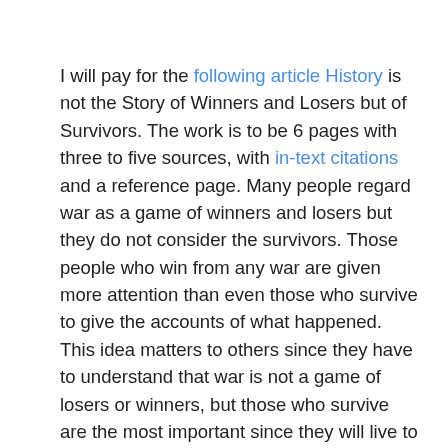I will pay for the following article History is not the Story of Winners and Losers but of Survivors. The work is to be 6 pages with three to five sources, with in-text citations and a reference page. Many people regard war as a game of winners and losers but they do not consider the survivors. Those people who win from any war are given more attention than even those who survive to give the accounts of what happened. This idea matters to others since they have to understand that war is not a game of losers or winners, but those who survive are the most important since they will live to give the testimony of what happened. This matter also matters to others since they have to change their mind on the conception they have about history and war, giving the example of the Great War. The methodology that I will use in this paper is continuity and change. The Great War is also referred to as the